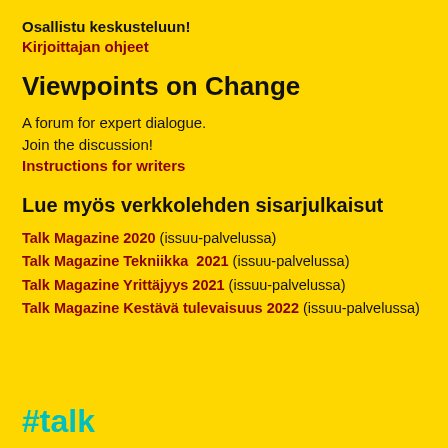Osallistu keskusteluun!
Kirjoittajan ohjeet
Viewpoints on Change
A forum for expert dialogue.
Join the discussion!
Instructions for writers
Lue myös verkkolehden sisarjulkaisut
Talk Magazine 2020 (issuu-palvelussa)
Talk Magazine Tekniikka  2021 (issuu-palvelussa)
Talk Magazine Yrittäjyys 2021 (issuu-palvelussa)
Talk Magazine Kestävä tulevaisuus 2022 (issuu-palvelussa)
#talk